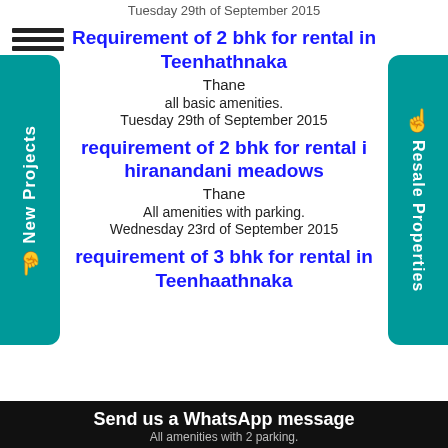Tuesday 29th of September 2015
Requirement of 2 bhk for rental in Teenhathnaka
Thane
all basic amenities.
Tuesday 29th of September 2015
requirement of 2 bhk for rental in hiranandani meadows
Thane
All amenities with parking.
Wednesday 23rd of September 2015
requirement of 3 bhk for rental in Teenhaathnaka
Send us a WhatsApp message
All amenities with 2 parking.